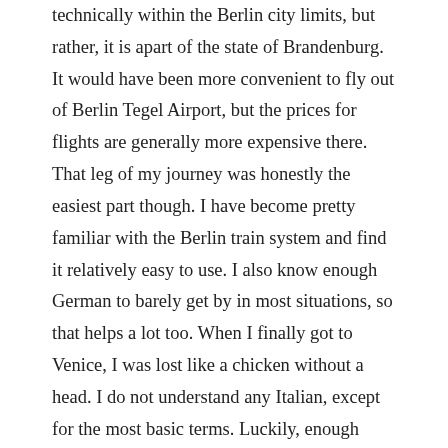technically within the Berlin city limits, but rather, it is apart of the state of Brandenburg. It would have been more convenient to fly out of Berlin Tegel Airport, but the prices for flights are generally more expensive there. That leg of my journey was honestly the easiest part though. I have become pretty familiar with the Berlin train system and find it relatively easy to use. I also know enough German to barely get by in most situations, so that helps a lot too. When I finally got to Venice, I was lost like a chicken without a head. I do not understand any Italian, except for the most basic terms. Luckily, enough people in Venice speak English to help clueless Americans like myself. I finally made my way to our Airbnb after taking a bus and a ferry. Things got a lot easier once I met up with my girlfriend and her friend who also came along to Venice. Three heads are definitely better than one in these kinds of situations. The rest of the weekend went really well and I had an amazing time! Coming back at the end of the trip was also a very real experience for me. I had to catch a very early flight on